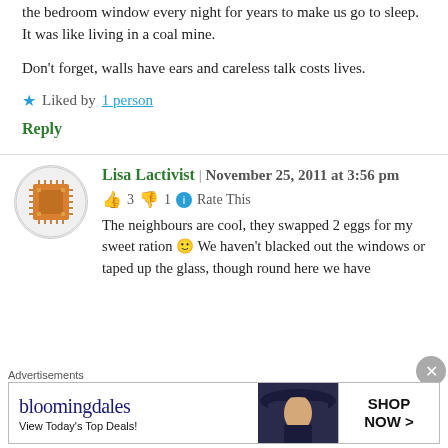the bedroom window every night for years to make us go to sleep. It was like living in a coal mine.
Don't forget, walls have ears and careless talk costs lives.
★ Liked by 1 person
Reply
Lisa Lactivist | November 25, 2011 at 3:56 pm
👍 3 👎 1 ℹ Rate This
The neighbours are cool, they swapped 2 eggs for my sweet ration 🙂 We haven't blacked out the windows or taped up the glass, though round here we have
Advertisements
[Figure (other): Bloomingdale's advertisement banner: 'View Today's Top Deals!' with SHOP NOW > button and woman in hat image]